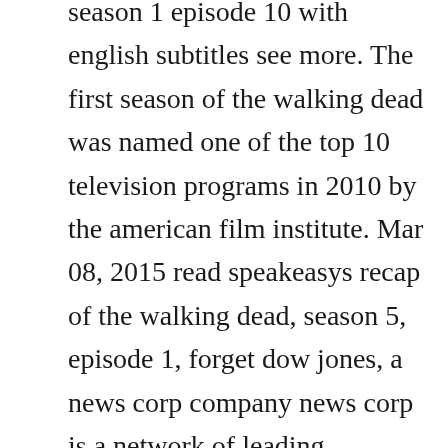season 1 episode 10 with english subtitles see more. The first season of the walking dead was named one of the top 10 television programs in 2010 by the american film institute. Mar 08, 2015 read speakeasys recap of the walking dead, season 5, episode 1, forget dow jones, a news corp company news corp is a network of leading companies in the worlds of diversified media, news. The walking dead season 5 episode 17 full the walking dead season 5 episode 17 full episodes the walking dead season 5 episode 17 0 the walking dead season 5 episode 17